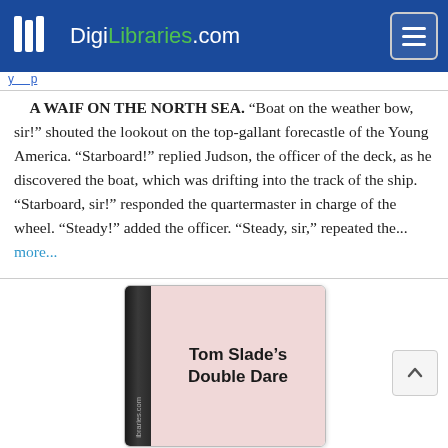DigiLibraries.com
A WAIF ON THE NORTH SEA. “Boat on the weather bow, sir!” shouted the lookout on the top-gallant forecastle of the Young America. “Starboard!” replied Judson, the officer of the deck, as he discovered the boat, which was drifting into the track of the ship. “Starboard, sir!” responded the quartermaster in charge of the wheel. “Steady!” added the officer. “Steady, sir,” repeated the... more...
[Figure (illustration): Book cover for 'Tom Slade’s Double Dare' showing a pink cover with dark spine labeled 'libraries.com']